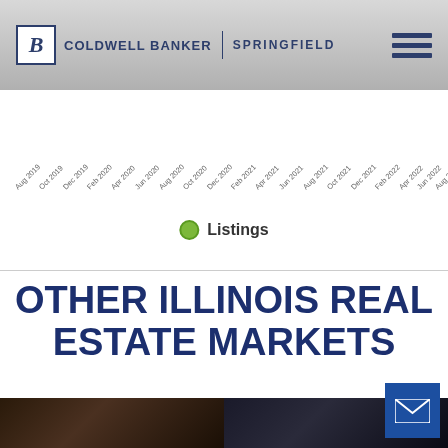[Figure (logo): Coldwell Banker Springfield logo with hamburger menu]
[Figure (continuous-plot): Line chart showing Listings over time from Aug 2019 to Aug 2022 with x-axis date labels rotated at 45 degrees]
Listings
OTHER ILLINOIS REAL ESTATE MARKETS
[Figure (photo): Two dark real estate property photos side by side at bottom of page]